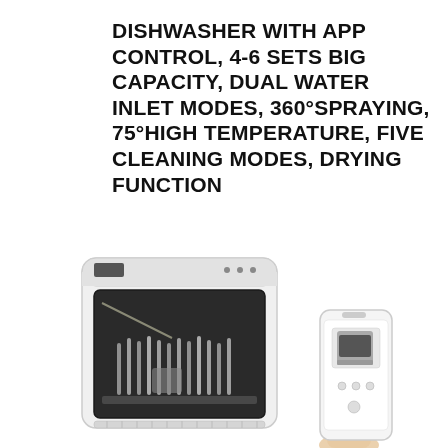DISHWASHER WITH APP CONTROL, 4-6 SETS BIG CAPACITY, DUAL WATER INLET MODES, 360°SPRAYING, 75°HIGH TEMPERATURE, FIVE CLEANING MODES, DRYING FUNCTION
[Figure (photo): A compact countertop dishwasher with a black glass door showing dishes inside, white body with control panel on top, alongside a smartphone displaying the dishwasher control app. A hand holds the phone from below.]